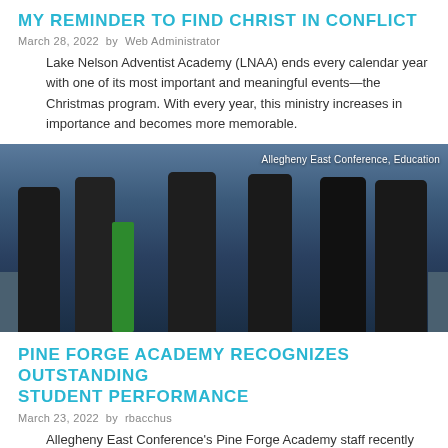MY REMINDER TO FIND CHRIST IN CONFLICT
March 28, 2022  by  Web Administrator
Lake Nelson Adventist Academy (LNAA) ends every calendar year with one of its most important and meaningful events—the Christmas program. With every year, this ministry increases in importance and becomes more memorable.
[Figure (photo): Group of students in formal attire standing in a row, some wearing medals, with a trophy visible. Text overlay reads 'Allegheny East Conference, Education'.]
PINE FORGE ACADEMY RECOGNIZES OUTSTANDING STUDENT PERFORMANCE
March 23, 2022  by  rbacchus
Allegheny East Conference's Pine Forge Academy staff recently held an Honors Convocation ceremony in which students were recognized for their academic efforts.